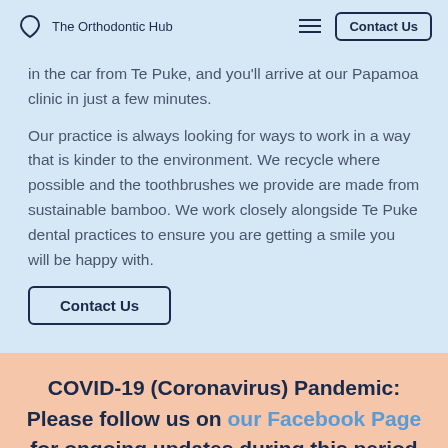The Orthodontic Hub
in the car from Te Puke, and you'll arrive at our Papamoa clinic in just a few minutes.
Our practice is always looking for ways to work in a way that is kinder to the environment. We recycle where possible and the toothbrushes we provide are made from sustainable bamboo. We work closely alongside Te Puke dental practices to ensure you are getting a smile you will be happy with.
Contact Us
COVID-19 (Coronavirus) Pandemic: Please follow us on our Facebook Page for ongoing updates during this period